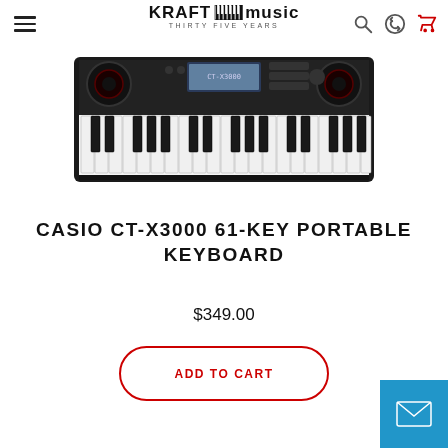Kraft Music - Thirty Five Years
[Figure (photo): Casio CT-X3000 61-key portable keyboard product photo showing a black keyboard with red-accented speakers on each side, white and black keys, and control panel with LCD display in the center top]
CASIO CT-X3000 61-KEY PORTABLE KEYBOARD
$349.00
ADD TO CART